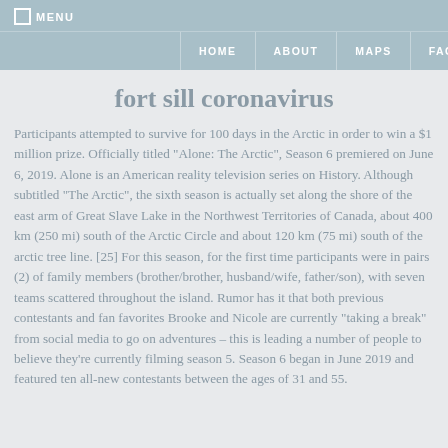☐ MENU
HOME  ABOUT  MAPS  FAQ
fort sill coronavirus
Participants attempted to survive for 100 days in the Arctic in order to win a $1 million prize. Officially titled "Alone: The Arctic", Season 6 premiered on June 6, 2019. Alone is an American reality television series on History. Although subtitled "The Arctic", the sixth season is actually set along the shore of the east arm of Great Slave Lake in the Northwest Territories of Canada, about 400 km (250 mi) south of the Arctic Circle and about 120 km (75 mi) south of the arctic tree line. [25] For this season, for the first time participants were in pairs (2) of family members (brother/brother, husband/wife, father/son), with seven teams scattered throughout the island. Rumor has it that both previous contestants and fan favorites Brooke and Nicole are currently "taking a break" from social media to go on adventures – this is leading a number of people to believe they're currently filming season 5. Season 6 began in June 2019 and featured ten all-new contestants between the ages of 31 and 55.